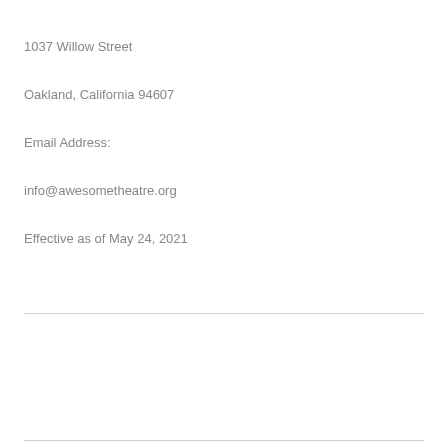1037 Willow Street
Oakland, California 94607
Email Address:
info@awesometheatre.org
Effective as of May 24, 2021